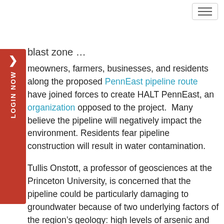[Navigation bar with hamburger menu button]
blast zone …
meowners, farmers, businesses, and residents along the proposed PennEast pipeline route have joined forces to create HALT PennEast, an organization opposed to the project.  Many believe the pipeline will negatively impact the environment. Residents fear pipeline construction will result in water contamination.
Tullis Onstott, a professor of geosciences at the Princeton University, is concerned that the pipeline could be particularly damaging to groundwater because of two underlying factors of the region's geology: high levels of arsenic and uranium, and the low porosity of the rocks.
The Federal Energy Regulatory Commission (FERC), an agency that regulates the transmission of electricity and